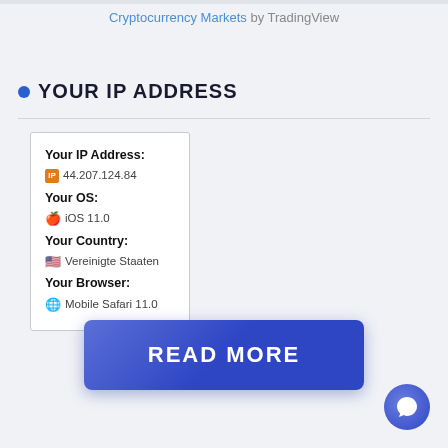Cryptocurrency Markets by TradingView
YOUR IP ADDRESS
[Figure (infographic): IP Address info card showing: Your IP Address: 44.207.124.84, Your OS: iOS 11.0, Your Country: Vereinigte Staaten, Your Browser: Mobile Safari 11.0]
READ MORE
[Figure (other): Blue circular chat bubble button with speech icon in bottom right corner]